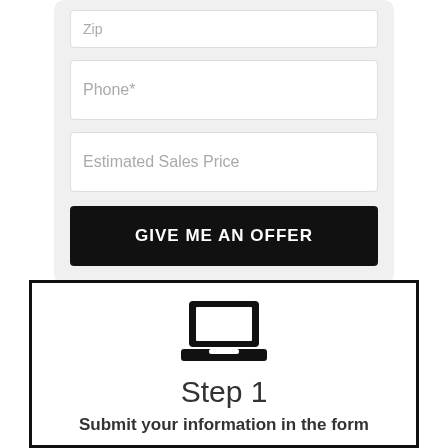[Figure (screenshot): Form section with ZIP field (partially visible), Phone* input field, Estimated Sales Price input field, and a black GIVE ME AN OFFER button, all on a light gray rounded background.]
[Figure (infographic): Step 1 card with a laptop icon, 'Step 1' heading, and 'Submit your information in the form' text, inside a black-bordered rectangle.]